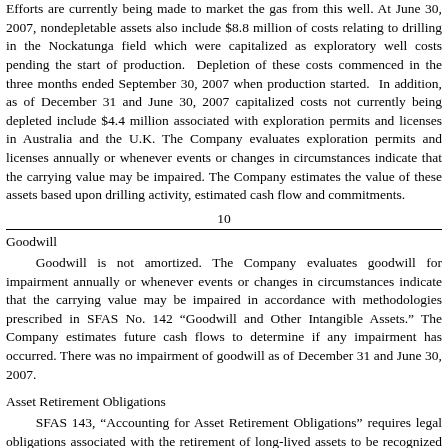Efforts are currently being made to market the gas from this well. At June 30, 2007, nondepletable assets also include $8.8 million of costs relating to drilling in the Nockatunga field which were capitalized as exploratory well costs pending the start of production. Depletion of these costs commenced in the three months ended September 30, 2007 when production started. In addition, as of December 31 and June 30, 2007 capitalized costs not currently being depleted include $4.4 million associated with exploration permits and licenses in Australia and the U.K. The Company evaluates exploration permits and licenses annually or whenever events or changes in circumstances indicate that the carrying value may be impaired. The Company estimates the value of these assets based upon drilling activity, estimated cash flow and commitments.
10
Goodwill
Goodwill is not amortized. The Company evaluates goodwill for impairment annually or whenever events or changes in circumstances indicate that the carrying value may be impaired in accordance with methodologies prescribed in SFAS No. 142 “Goodwill and Other Intangible Assets.” The Company estimates future cash flows to determine if any impairment has occurred. There was no impairment of goodwill as of December 31 and June 30, 2007.
Asset Retirement Obligations
SFAS 143, “Accounting for Asset Retirement Obligations” requires legal obligations associated with the retirement of long-lived assets to be recognized at their fair value at the time that the obligations are incurred. Upon initial recognition of a liability, that cost is capitalized as part of the related long-lived asset (oil & gas...